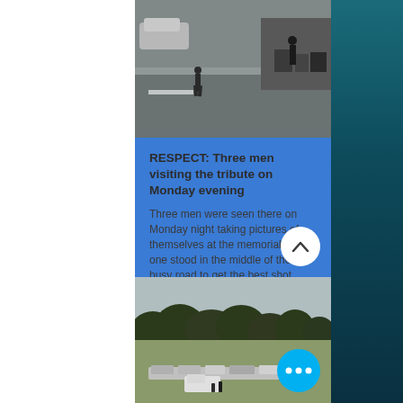[Figure (photo): Street scene showing a person standing on a road near a car, with others by bins/bags on the right side. CCTV or news footage style image.]
RESPECT: Three men visiting the tribute on Monday evening
Three men were seen there on Monday night taking pictures of themselves at the memorial, with one stood in the middle of the busy road to get the best shot.
With no bars and pubs open during lockdown, car parks in the forest have become a meeting place for young people in cars.
[Figure (photo): Outdoor landscape scene showing a field with trees in the background and multiple cars parked, police or event presence visible.]